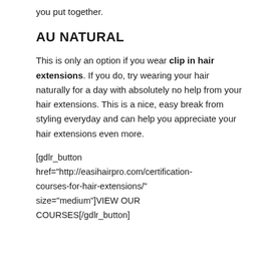you put together.
AU NATURAL
This is only an option if you wear clip in hair extensions. If you do, try wearing your hair naturally for a day with absolutely no help from your hair extensions. This is a nice, easy break from styling everyday and can help you appreciate your hair extensions even more.
[gdlr_button href="http://easihairpro.com/certification-courses-for-hair-extensions/" size="medium"]VIEW OUR COURSES[/gdlr_button]